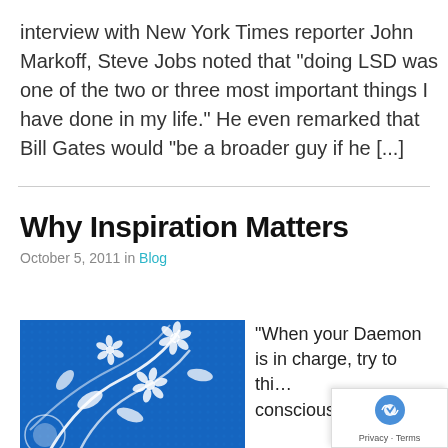interview with New York Times reporter John Markoff, Steve Jobs noted that “doing LSD was one of the two or three most important things I have done in my life.” He even remarked that Bill Gates would “be a broader guy if he […]
Why Inspiration Matters
October 5, 2011 in Blog
[Figure (illustration): Blue decorative background with white swirling floral and leaf patterns]
“When your Daemon is in charge, try to thi… consciously